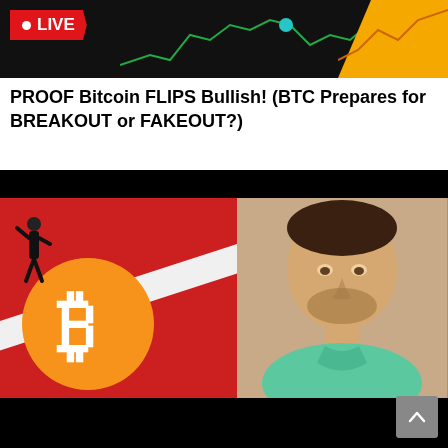[Figure (screenshot): Top banner with LIVE badge on dark background, green chart lines visible, teal dot, and yellow corner accent]
PROOF Bitcoin FLIPS Bullish! (BTC Prepares for BREAKOUT or FAKEOUT?)
[Figure (screenshot): Video thumbnail split into two halves: left side red background with Bitcoin orange coin logo and small figure standing on diagonal white stripe; right side shows a young man in a teal polo shirt sitting in front of a bookshelf]